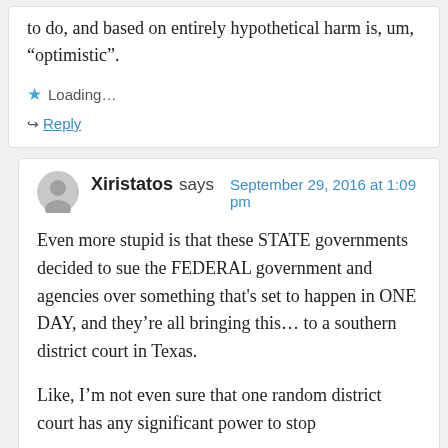to do, and based on entirely hypothetical harm is, um, “optimistic”.
Loading...
Reply
Xiristatos says  September 29, 2016 at 1:09 pm
Even more stupid is that these STATE governments decided to sue the FEDERAL government and agencies over something that's set to happen in ONE DAY, and they’re all bringing this… to a southern district court in Texas.
Like, I’m not even sure that one random district court has any significant power to stop